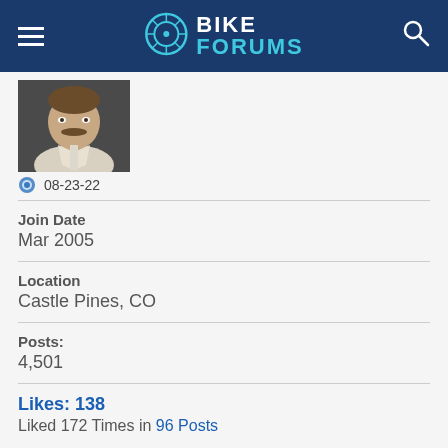BIKE FORUMS
[Figure (photo): Profile photo of a man with a mustache wearing a dark jacket]
08-23-22
Join Date
Mar 2005
Location
Castle Pines, CO
Posts:
4,501
Likes: 138
Liked 172 Times in 96 Posts